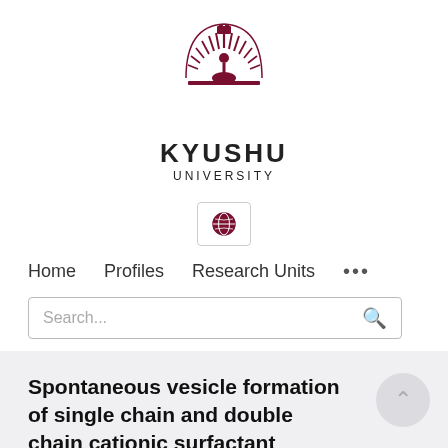[Figure (logo): Kyushu University logo — circular emblem with stylized feather/wheat design in dark red/maroon with a small building/crest at top center]
KYUSHU
UNIVERSITY
[Figure (other): Globe icon in a small bordered box (language/region selector)]
Home    Profiles    Research Units    ...
Search...
Spontaneous vesicle formation of single chain and double chain cationic surfactant mixtures